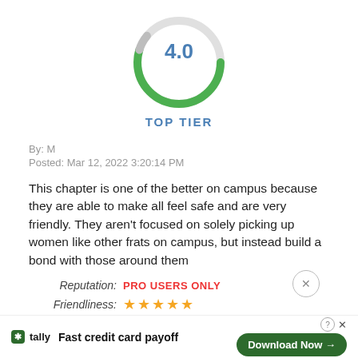[Figure (donut-chart): 4.0 TOP TIER]
By: M
Posted: Mar 12, 2022 3:20:14 PM
This chapter is one of the better on campus because they are able to make all feel safe and are very friendly. They aren't focused on solely picking up women like other frats on campus, but instead build a bond with those around them
Reputation: PRO USERS ONLY
Friendliness: ★★★★★ (5 stars)
Popularity: ★★★☆☆ (3 stars)
Classiness: ★★★☆☆ (3 stars)
Fast credit card payoff